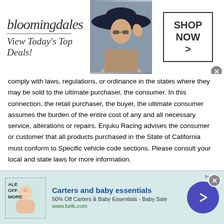[Figure (screenshot): Bloomingdales advertisement banner: logo text 'bloomingdales', tagline 'View Today's Top Deals!', photo of woman in hat, 'SHOP NOW >' button]
comply with laws, regulations, or ordinance in the states where they may be sold to the ultimate purchaser, the consumer. In this connection, the retail purchaser, the buyer, the ultimate consumer assumes the burden of the entire cost of any and all necessary service, alterations or repairs. Enjuku Racing advises the consumer or customer that all products purchased in the State of California must conform to Specific vehicle code sections. Please consult your local and state laws for more information.
RETURNS All sales are final. All parts are subject to price changes and availability. NO RETURNS !! Any returns accepted are subjected to a 25% restocking Fee. Any returns accepted must be within 30 days of date of purchase, be
[Figure (screenshot): Carters and baby essentials advertisement: 'ALE OFF MORE' text, baby image, title 'Carters and baby essentials', '50% Off Carters & Baby Essentials - Baby Sale', 'www.belk.com', blue circular arrow button, close X button]